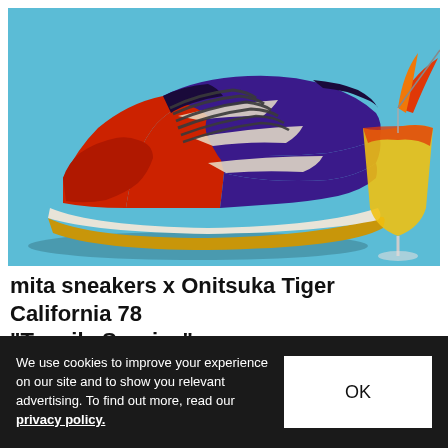[Figure (photo): A red and purple Onitsuka Tiger California 78 sneaker with cream/white swoosh stripes and yellow sole, photographed against a light blue background with a cocktail drink (tequila sunrise) visible in the upper right corner.]
mita sneakers x Onitsuka Tiger California 78 "Tequila Sunrise"
The Tequila Sunrise colorway offers a distinctive retail...
We use cookies to improve your experience on our site and to show you relevant advertising. To find out more, read our privacy policy.